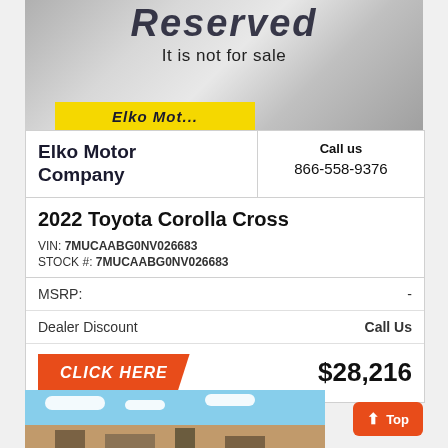[Figure (photo): Metallic brushed steel banner with text 'Reserved' (partially visible) and 'It is not for sale', with yellow Elko Motor bar at bottom]
Elko Motor Company
Call us 866-558-9376
2022 Toyota Corolla Cross
VIN: 7MUCAABG0NV026683
STOCK #: 7MUCAABG0NV026683
MSRP: -
Dealer Discount   Call Us
CLICK HERE   $28,216
[Figure (photo): Dealership exterior photo with blue sky and buildings, with orange Top button]